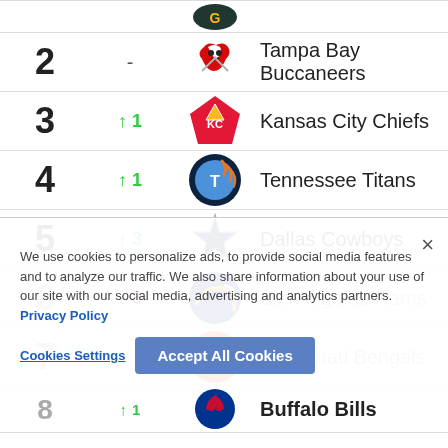| Rank | Change | Logo | Team |
| --- | --- | --- | --- |
| 2 | - |  | Tampa Bay Buccaneers |
| 3 | ↑ 1 |  | Kansas City Chiefs |
| 4 | ↑ 1 |  | Tennessee Titans |
| 5 | ↑ 3 |  | Dallas Cowboys |
| 6 | ↓ 3 |  | Los Angeles Rams |
| 7 |  |  | Cincinnati Bengals |
| 8 | ↑ 1 |  | Buffalo Bills |
We use cookies to personalize ads, to provide social media features and to analyze our traffic. We also share information about your use of our site with our social media, advertising and analytics partners. Privacy Policy
Cookies Settings  Accept All Cookies